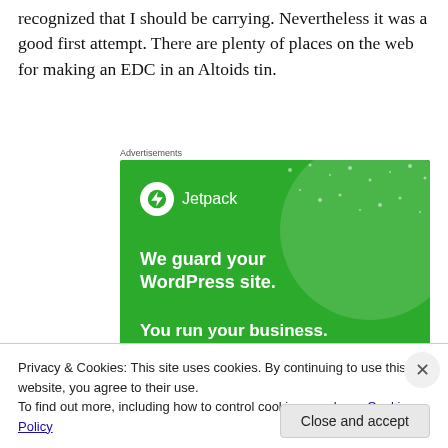recognized that I should be carrying. Nevertheless it was a good first attempt. There are plenty of places on the web for making an EDC in an Altoids tin.
Advertisements
[Figure (illustration): Jetpack WordPress plugin advertisement on a green background. Logo with lightning bolt icon, text: 'We guard your WordPress site. You run your business.']
Privacy & Cookies: This site uses cookies. By continuing to use this website, you agree to their use.
To find out more, including how to control cookies, see here: Cookie Policy